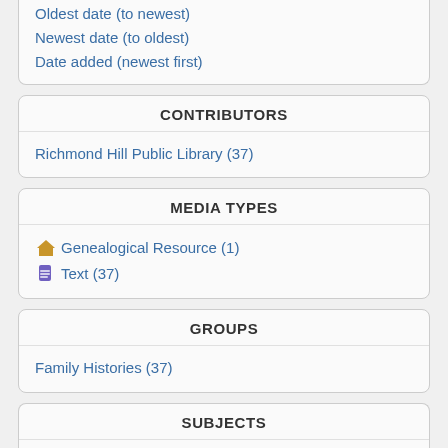Oldest date (to newest)
Newest date (to oldest)
Date added (newest first)
CONTRIBUTORS
Richmond Hill Public Library (37)
MEDIA TYPES
Genealogical Resource (1)
Text (37)
GROUPS
Family Histories (37)
SUBJECTS
Families (37)
Conjectural works (19)
Family trees (19)